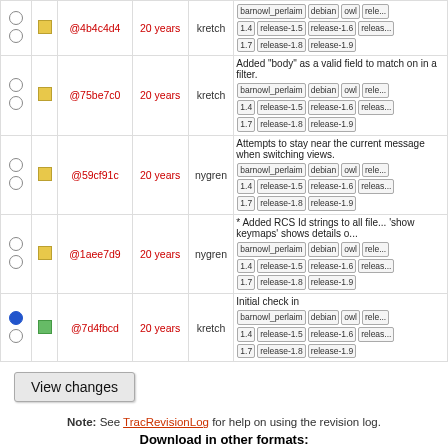|  |  | Rev | Age | Author | Log Message |
| --- | --- | --- | --- | --- | --- |
| ○ ○ | □ | @4b4c4d4 | 20 years | kretch | barnowl_perlaim debian owl rele... 1.4 release-1.5 release-1.6 release... 1.7 release-1.8 release-1.9 |
| ○ ○ | □ | @75be7c0 | 20 years | kretch | Added "body" as a valid field to match on in a filter. barnowl_perlaim debian owl rele... 1.4 release-1.5 release-1.6 release... 1.7 release-1.8 release-1.9 |
| ○ ○ | □ | @59cf91c | 20 years | nygren | Attempts to stay near the current message when switching views. barnowl_perlaim debian owl rele... 1.4 release-1.5 release-1.6 release... 1.7 release-1.8 release-1.9 |
| ○ ○ | □ | @1aee7d9 | 20 years | nygren | * Added RCS Id strings to all file... 'show keymaps' shows details o... barnowl_perlaim debian owl rele... 1.4 release-1.5 release-1.6 release... 1.7 release-1.8 release-1.9 |
| ● ○ | □ | @7d4fbcd | 20 years | kretch | Initial check in barnowl_perlaim debian owl rele... 1.4 release-1.5 release-1.6 release... 1.7 release-1.8 release-1.9 |
View changes
Note: See TracRevisionLog for help on using the revision log.
Download in other formats: RSS Feed | ChangeLog
Powered by Trac 1.0.2 By Edgewall Software.
The photo in the BarnOwl logo is from Steve Brace on Flickr and used under CC-BY